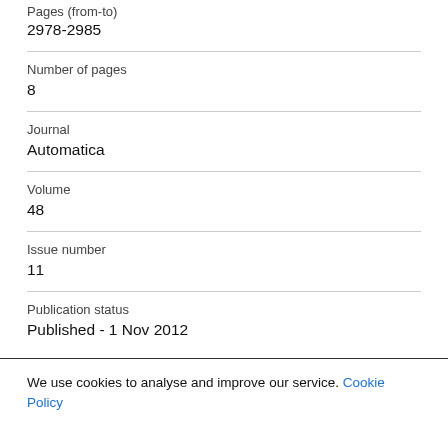Pages (from-to)
2978-2985
Number of pages
8
Journal
Automatica
Volume
48
Issue number
11
Publication status
Published - 1 Nov 2012
Keywords
We use cookies to analyse and improve our service. Cookie Policy